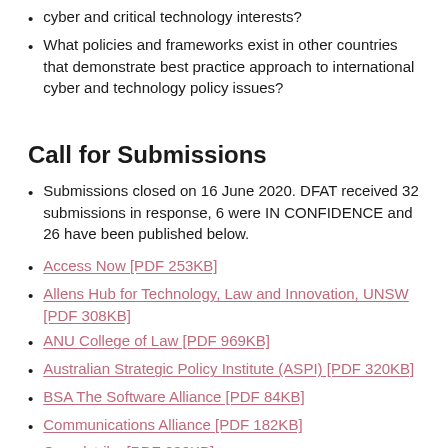cyber and critical technology interests?
What policies and frameworks exist in other countries that demonstrate best practice approach to international cyber and technology policy issues?
Call for Submissions
Submissions closed on 16 June 2020. DFAT received 32 submissions in response, 6 were IN CONFIDENCE and 26 have been published below.
Access Now [PDF 253KB]
Allens Hub for Technology, Law and Innovation, UNSW [PDF 308KB]
ANU College of Law [PDF 969KB]
Australian Strategic Policy Institute (ASPI) [PDF 320KB]
BSA The Software Alliance [PDF 84KB]
Communications Alliance [PDF 182KB]
Crowdstrike [PDF 230KB]
Cyber Security Cooperative Research Centre (CSCRC) [PDF 305KB]